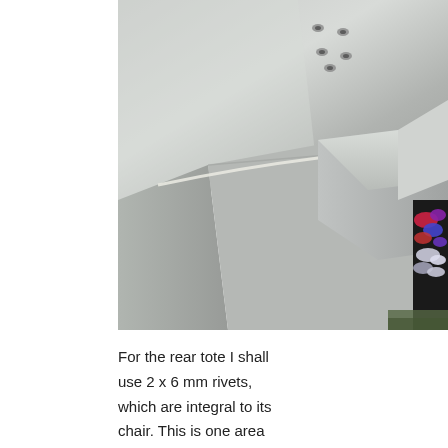[Figure (photo): Close-up photo of metal sheet components with rivets on top surface and an angled aluminum bracket/channel piece at the bottom right corner, with colorful metal shavings/debris visible at the far right edge.]
For the rear tote I shall use 2 x 6 mm rivets, which are integral to its chair. This is one area